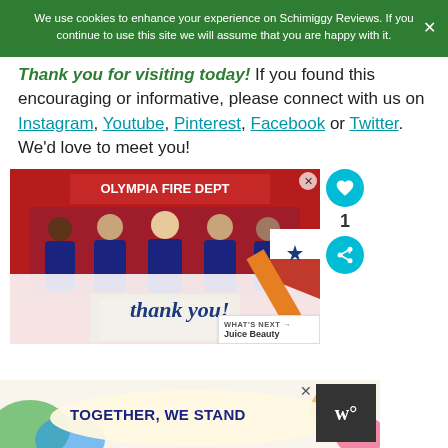We use cookies to enhance your experience on Schimiggy Reviews. If you continue to use this site we will assume that you are happy with it.
Thank you for visiting today! If you found this encouraging or informative, please connect with us on Instagram, Youtube, Pinterest, Facebook or Twitter. We'd love to meet you!
[Figure (photo): Photo of firefighters from Olympia Fire Dept posing together with a thank you note below, overlaid with a decorative American flag pencil graphic and 'thank you!' text]
WHAT'S NEXT → Juice Beauty
[Figure (infographic): Advertisement banner reading 'TOGETHER, WE STAND' with colorful background shapes and a logo on the right]